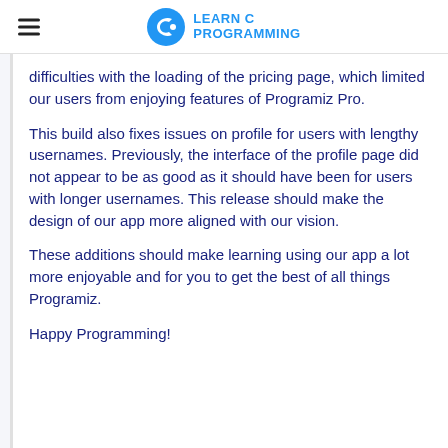LEARN C PROGRAMMING
difficulties with the loading of the pricing page, which limited our users from enjoying features of Programiz Pro.
This build also fixes issues on profile for users with lengthy usernames. Previously, the interface of the profile page did not appear to be as good as it should have been for users with longer usernames. This release should make the design of our app more aligned with our vision.
These additions should make learning using our app a lot more enjoyable and for you to get the best of all things Programiz.
Happy Programming!